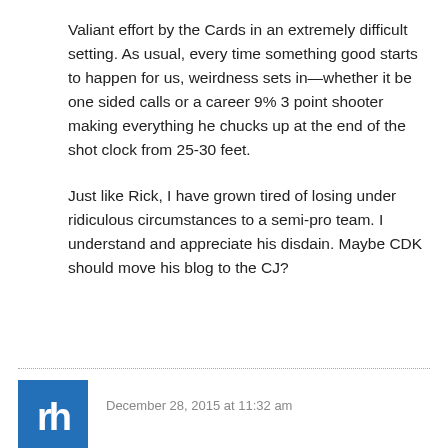Valiant effort by the Cards in an extremely difficult setting. As usual, every time something good starts to happen for us, weirdness sets in—whether it be one sided calls or a career 9% 3 point shooter making everything he chucks up at the end of the shot clock from 25-30 feet.
Just like Rick, I have grown tired of losing under ridiculous circumstances to a semi-pro team. I understand and appreciate his disdain. Maybe CDK should move his blog to the CJ?
[Figure (illustration): Blue square avatar with white stylized 'rh' or initials logo]
December 28, 2015 at 11:32 am